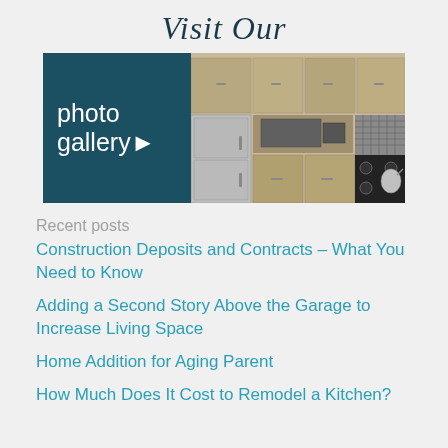Visit Our
[Figure (photo): Photo gallery banner showing kitchen with dark teal overlay panel on the left reading 'photo gallery ▶' and a kitchen interior with wood cabinets, stainless steel refrigerator, microwave, and gas range on the right]
Recent posts
Construction Deposits and Contracts – What You Need to Know
Adding a Second Story Above the Garage to Increase Living Space
Home Addition for Aging Parent
How Much Does It Cost to Remodel a Kitchen?